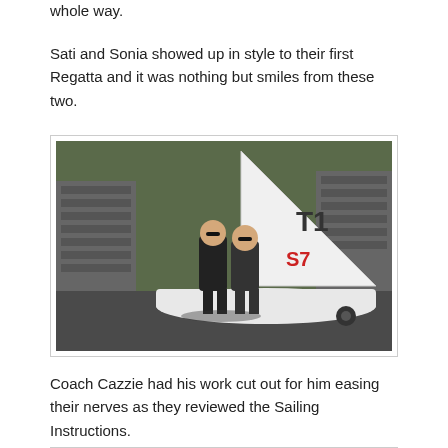whole way.
Sati and Sonia showed up in style to their first Regatta and it was nothing but smiles from these two.
[Figure (photo): Two young women in black wetsuits standing in front of a white sailboat with 'T1' and red numbers on the sail, on a trailer in an outdoor area with stacked materials in the background.]
Coach Cazzie had his work cut out for him easing their nerves as they reviewed the Sailing Instructions.